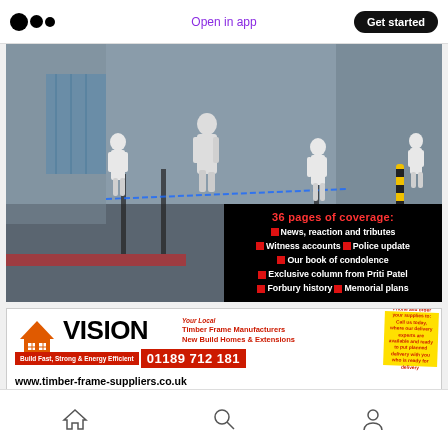Open in app | Get started
[Figure (photo): Forensic investigators in white protective suits at a crime scene in an urban setting, with police tape visible. An overlaid black box lists: 36 pages of coverage: News, reaction and tributes; Witness accounts; Police update; Our book of condolence; Exclusive column from Priti Patel; Forbury history; Memorial plans]
[Figure (infographic): Advertisement for VISION Timber Frame Manufacturers. Taglines: Your Local Timber Frame Manufacturers, New Build Homes & Extensions, Build Fast, Strong & Energy Efficient, phone number 01189 712 181, website www.timber-frame-suppliers.co.uk. Yellow badge in corner.]
Home | Search | Profile navigation icons